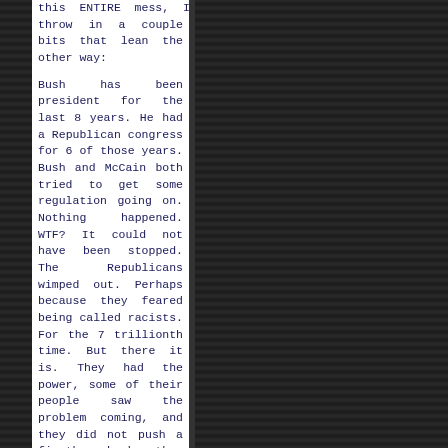DAILYEMBE
this ENTIRE mess, I'll throw in a couple bits that lean the other way:
Bush has been president for the last 8 years. He had a Republican congress for 6 of those years. Bush and McCain both tried to get some regulation going on. Nothing happened. WTF? It could not have been stopped. The Republicans wimped out. Perhaps because they feared being called racists. For the 7 trillionth time. But there it is. They had the power, some of their people saw the problem coming, and they did not push a fix through when they could not have been stopped.
The packaging of these securities was done deliberately to hide the risk. The manipulation of ratings of mortgage-backed securities could not have been accidental.
fioricet buy
buy fioricet
[Figure (other): Embedded plugin area showing 'Couldn't load plugin.' error message on dark background]